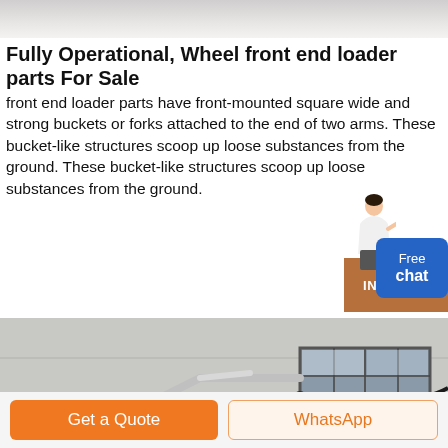Fully Operational, Wheel front end loader parts For Sale
front end loader parts have front-mounted square wide and strong buckets or forks attached to the end of two arms. These bucket-like structures scoop up loose substances from the ground. These bucket-like structures scoop up loose substances from the ground.
[Figure (photo): Teal/blue SHANYI brand wheel front end loader attachment photographed in an industrial facility with gray paneled walls and a window visible in the background.]
Get a Quote
WhatsApp